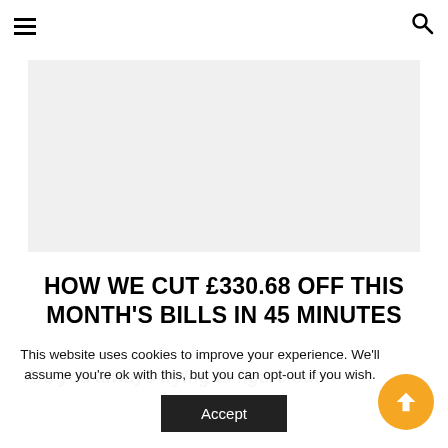Navigation bar with hamburger menu and search icon
[Figure (other): Grey advertisement or image placeholder rectangle]
HOW WE CUT £330.68 OFF THIS MONTH'S BILLS IN 45 MINUTES
Are you always trying to figure out
This website uses cookies to improve your experience. We'll assume you're ok with this, but you can opt-out if you wish. Accept